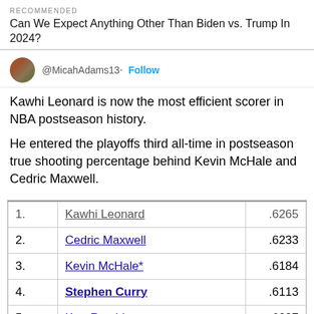RECOMMENDED
Can We Expect Anything Other Than Biden vs. Trump In 2024?
@MicahAdams13 · Follow
Kawhi Leonard is now the most efficient scorer in NBA postseason history.

He entered the playoffs third all-time in postseason true shooting percentage behind Kevin McHale and Cedric Maxwell.
|  | Name | Score |
| --- | --- | --- |
| 1. | Kawhi Leonard | .6265 |
| 2. | Cedric Maxwell | .6233 |
| 3. | Kevin McHale* | .6184 |
| 4. | Stephen Curry | .6113 |
| 5. | Kurt Rambis | .6097 |